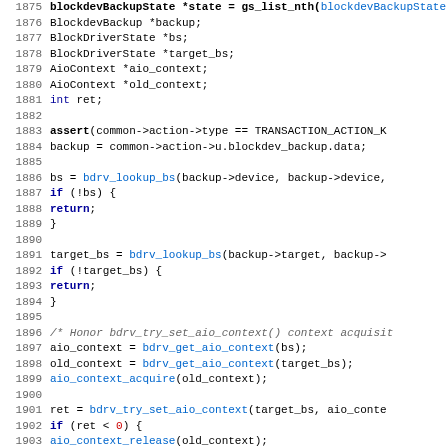[Figure (screenshot): Source code listing in C showing lines 1875-1907, featuring block device backup context handling code with line numbers, keywords in bold dark blue, function names in blue, and comments in italic gray.]